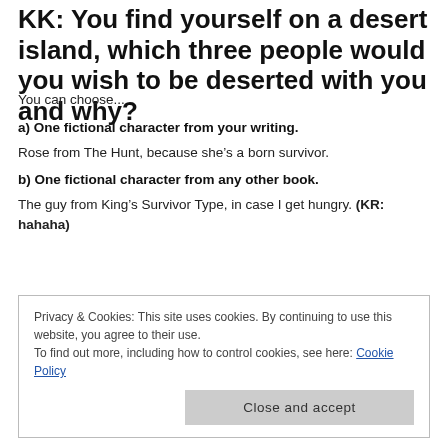KK: You find yourself on a desert island, which three people would you wish to be deserted with you and why?
You can choose...
a) One fictional character from your writing.
Rose from The Hunt, because she's a born survivor.
b) One fictional character from any other book.
The guy from King's Survivor Type, in case I get hungry. (KR: hahaha)
Privacy & Cookies: This site uses cookies. By continuing to use this website, you agree to their use.
To find out more, including how to control cookies, see here: Cookie Policy